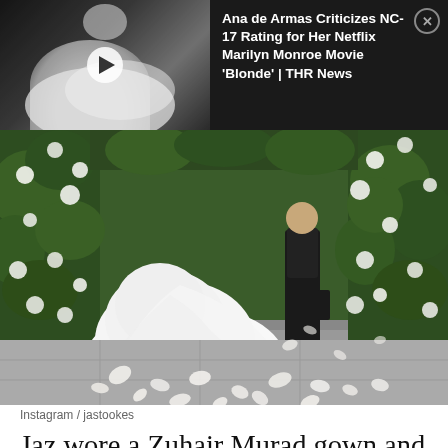[Figure (screenshot): Video thumbnail overlay showing Ana de Armas as Marilyn Monroe in black and white, with play button]
Ana de Armas Criticizes NC-17 Rating for Her Netflix Marilyn Monroe Movie ‘Blonde’ | THR News
[Figure (photo): Wedding photo showing a bride in a large white gown with white roses and petals scattered on the ground, groom in black suit visible in background]
Instagram / jastookes
Jaz wore a Zuhair Murad gown and said she was inspired by the old-fashioned look of Grace Kelly. With a full lace neck